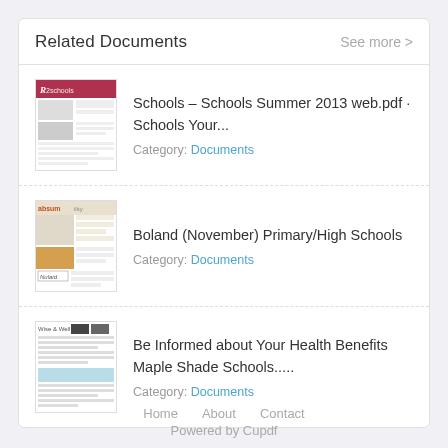Related Documents
Schools - Schools Summer 2013 web.pdf · Schools Your...
Category: Documents
Boland (November) Primary/High Schools
Category: Documents
Be Informed about Your Health Benefits Maple Shade Schools.....
Category: Documents
Home   About   Contact
Powered by Cupdf